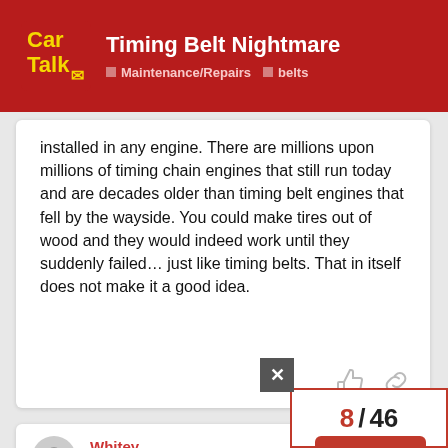Timing Belt Nightmare | Maintenance/Repairs | belts
installed in any engine. There are millions upon millions of timing chain engines that still run today and are decades older than timing belt engines that fell by the wayside. You could make tires out of wood and they would indeed work until they suddenly failed… just like timing belts. That in itself does not make it a good idea.
Whitey — Jul '13
I contend this is a non-issue because millions upon millions of timing belt y…